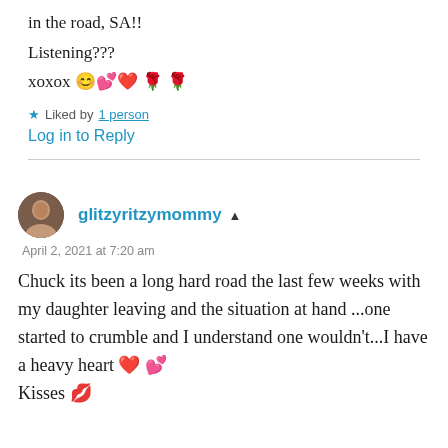in the road, SA!!
Listening???
xoxox 😊💕❤️🌹🌹
★ Liked by 1 person
Log in to Reply
glitzyritzymommy ▲
April 2, 2021 at 7:20 am
Chuck its been a long hard road the last few weeks with my daughter leaving and the situation at hand ...one started to crumble and I understand one wouldn't...I have a heavy heart ❤️💕
Kisses 💋